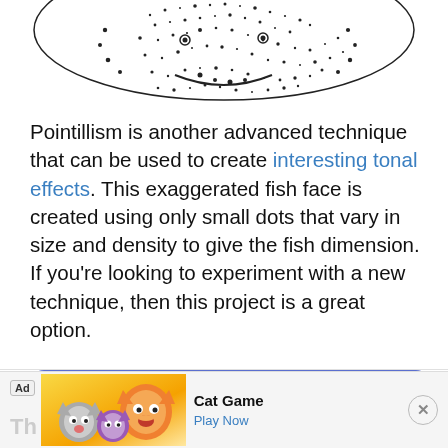[Figure (illustration): Partial view of a pointillism-style drawing of an exaggerated fish face, rendered with small dots, cropped at the top of the page.]
Pointillism is another advanced technique that can be used to create interesting tonal effects. This exaggerated fish face is created using only small dots that vary in size and density to give the fish dimension. If you're looking to experiment with a new technique, then this project is a great option.
Free Download Here
[Figure (other): Ad banner for Cat Game app showing animated cat characters on a colorful background, with 'Ad' label, 'Cat Game' title, and 'Play Now' link.]